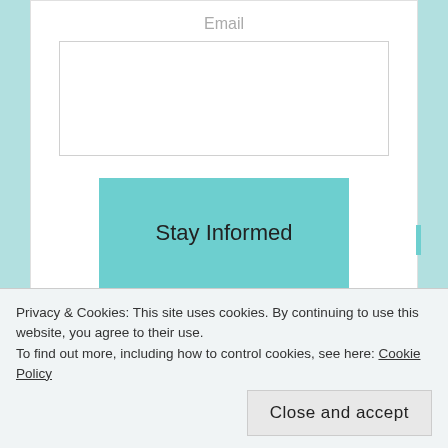Email
[Figure (screenshot): Email input text field (empty white box)]
Stay Informed
[Figure (screenshot): Empty white content card below the form]
Privacy & Cookies: This site uses cookies. By continuing to use this website, you agree to their use.
To find out more, including how to control cookies, see here: Cookie Policy
Close and accept